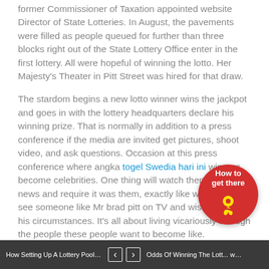former Commissioner of Taxation appointed website Director of State Lotteries. In August, the pavements were filled as people queued for further than three blocks right out of the State Lottery Office enter in the first lottery. All were hopeful of winning the lotto. Her Majesty's Theater in Pitt Street was hired for that draw.
The stardom begins a new lotto winner wins the jackpot and goes in with the lottery headquarters declare his winning prize. That is normally in addition to a press conference if the media are invited get pictures, shoot video, and ask questions. Occasion at this press conference where angka togel Swedia hari ini winners become celebrities. One thing will watch them to the news and require it was them, exactly like when they see someone like Mr brad pitt on TV and wish they had his circumstances. It's all about living vicariously through the people these people want to become like.
However, are you know that big jackpot games offer you regarding millions challenging more harder to win, as opposed to which offer between 3 and 20 million dollars or payouts?
[Figure (logo): Red circular badge with 'How to get there' text in white and a yellow navigation/map pin icon]
How Setting Up A Lottery Pool - Lotto Pool Tips ...    < >    Odds Of Winning The Lottery Way To Bea...